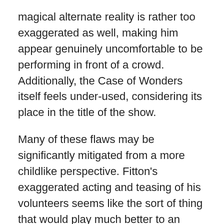magical alternate reality is rather too exaggerated as well, making him appear genuinely uncomfortable to be performing in front of a crowd. Additionally, the Case of Wonders itself feels under-used, considering its place in the title of the show.
Many of these flaws may be significantly mitigated from a more childlike perspective. Fitton's exaggerated acting and teasing of his volunteers seems like the sort of thing that would play much better to an audience full of children. This is no small thing, entertaining children is notoriously difficult. Many magicians give up on it entirely and only aim their shows at an adult audience. Fitton's child friendly act thus establishes this show at the heart of an important niche of family magic.
“A Case of Wonders” is a perfect show to take young